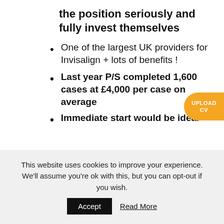the position seriously and fully invest themselves
One of the largest UK providers for Invisalign + lots of benefits !
Last year P/S completed 1,600 cases at £4,000 per case on average
Immediate start would be ideal
[Figure (other): Orange pill-shaped 'UPLOAD CV' button on right side]
This website uses cookies to improve your experience. We'll assume you're ok with this, but you can opt-out if you wish.
Accept   Read More